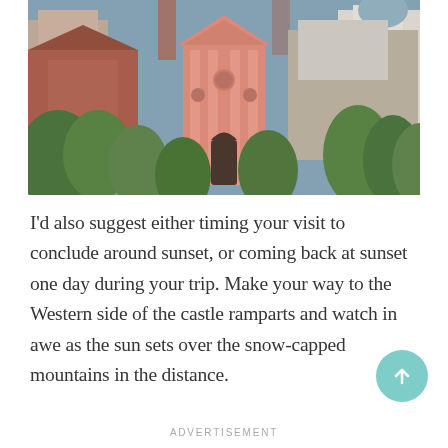[Figure (photo): Aerial/elevated view of a European city with a prominent pink Baroque church (Franciscan Church of the Annunciation in Ljubljana, Slovenia) surrounded by red-roofed buildings and lush green trees.]
I'd also suggest either timing your visit to conclude around sunset, or coming back at sunset one day during your trip. Make your way to the Western side of the castle ramparts and watch in awe as the sun sets over the snow-capped mountains in the distance.
ADVERTISEMENT